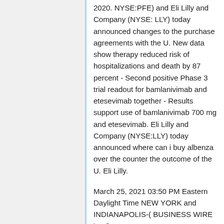2020. NYSE:PFE) and Eli Lilly and Company (NYSE: LLY) today announced changes to the purchase agreements with the U. New data show therapy reduced risk of hospitalizations and death by 87 percent - Second positive Phase 3 trial readout for bamlanivimab and etesevimab together - Results support use of bamlanivimab 700 mg and etesevimab. Eli Lilly and Company (NYSE:LLY) today announced where can i buy albenza over the counter the outcome of the U. Eli Lilly.
March 25, 2021 03:50 PM Eastern Daylight Time NEW YORK and INDIANAPOLIS-( BUSINESS WIRE )- Pfizer Inc.
March 25, 2021 03:50 PM Eastern Daylight Time NEW YORK and where is better to buy albenza INDIANAPOLIS-(